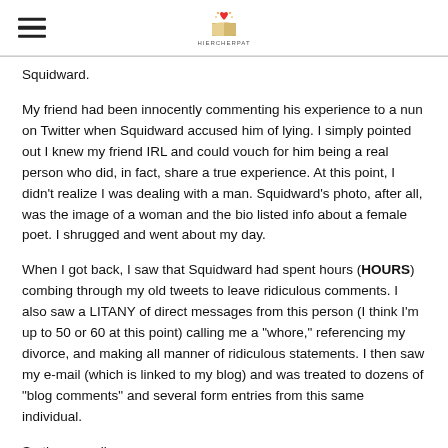HIERCHERPAT [logo]
Squidward.
My friend had been innocently commenting his experience to a nun on Twitter when Squidward accused him of lying.  I simply pointed out I knew my friend IRL and could vouch for him being a real person who did, in fact, share a true experience.  At this point, I didn't realize I was dealing with a man. Squidward's photo, after all, was the image of a woman and the bio listed info about a female poet.  I shrugged and went about my day.
When I got back, I saw that Squidward had spent hours (HOURS) combing through my old tweets to leave ridiculous comments. I also saw a LITANY of direct messages from this person (I think I'm up to 50 or 60 at this point) calling me a "whore," referencing my divorce, and making all manner of ridiculous statements.  I then saw my e-mail (which is linked to my blog) and was treated to dozens of "blog comments" and several form entries from this same individual.
So then we all...